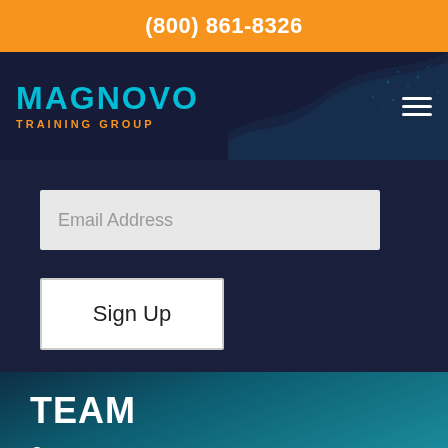(800) 861-8326
[Figure (logo): Magnovo Training Group logo with cyan MAGNOVO text and orange TRAINING GROUP subtext]
Email Address
Sign Up
TEAM
How Is Team Development Different?
Amazing Scavenger Race
Team Fusion
The Big Picture
Team Synergy